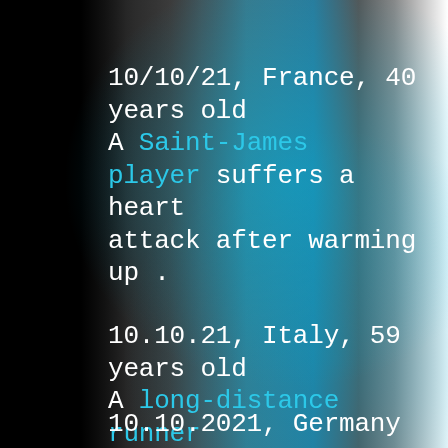10/10/21, France, 40 years old
A Saint-James player suffers a heart attack after warming up .
10.10.21, Italy, 59 years old
A long-distance runner from Biella dies of heart failure during a race.
10.10.2021, Germany